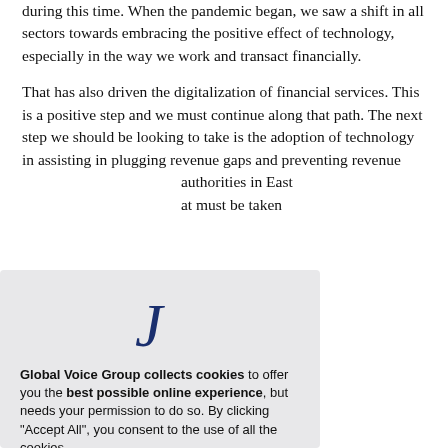during this time. When the pandemic began, we saw a shift in all sectors towards embracing the positive effect of technology, especially in the way we work and transact financially.
That has also driven the digitalization of financial services. This is a positive step and we must continue along that path. The next step we should be looking to take is the adoption of technology in assisting in plugging revenue gaps and preventing revenue authorities in East at must be taken
[Figure (other): Cookie consent modal overlay with Global Voice Group logo (stylized letter J in dark navy), bold text reading 'Global Voice Group collects cookies to offer you the best possible online experience, but needs your permission to do so. By clicking "Accept All", you consent to the use of all the cookies.' Two buttons: 'Manage my cookies' (gray) and 'Accept All' (dark navy).]
hat streamline unities for fraud, The automation co focus on ses and eliminate
What role is a ndering activities? How can it be stopped?